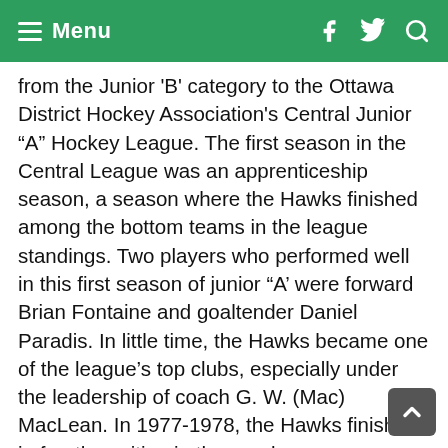Menu
from the Junior 'B' category to the Ottawa District Hockey Association's Central Junior “A” Hockey League. The first season in the Central League was an apprenticeship season, a season where the Hawks finished among the bottom teams in the league standings. Two players who performed well in this first season of junior “A’ were forward Brian Fontaine and goaltender Daniel Paradis. In little time, the Hawks became one of the league’s top clubs, especially under the leadership of coach G. W. (Mac) MacLean. In 1977-1978, the Hawks finished in fourth position in the regular season standings and were eliminated by the eventual playoff champions, Pembroke, in a seven-game semi-final series. Player François Bessette won the league scoring championship and was also named the Central Junior ‘A’ league’s most valuable player.
The 1979-1979...